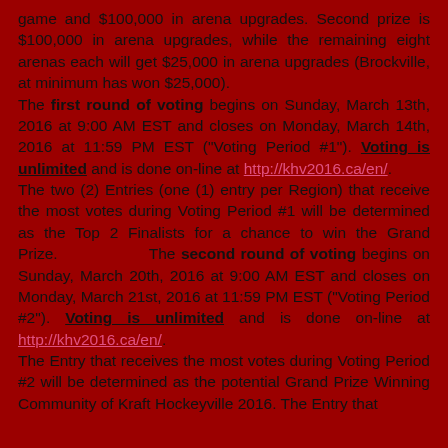game and $100,000 in arena upgrades. Second prize is $100,000 in arena upgrades, while the remaining eight arenas each will get $25,000 in arena upgrades (Brockville, at minimum has won $25,000). The first round of voting begins on Sunday, March 13th, 2016 at 9:00 AM EST and closes on Monday, March 14th, 2016 at 11:59 PM EST ("Voting Period #1"). Voting is unlimited and is done on-line at http://khv2016.ca/en/. The two (2) Entries (one (1) entry per Region) that receive the most votes during Voting Period #1 will be determined as the Top 2 Finalists for a chance to win the Grand Prize. The second round of voting begins on Sunday, March 20th, 2016 at 9:00 AM EST and closes on Monday, March 21st, 2016 at 11:59 PM EST ("Voting Period #2"). Voting is unlimited and is done on-line at http://khv2016.ca/en/. The Entry that receives the most votes during Voting Period #2 will be determined as the potential Grand Prize Winning Community of Kraft Hockeyville 2016. The Entry that